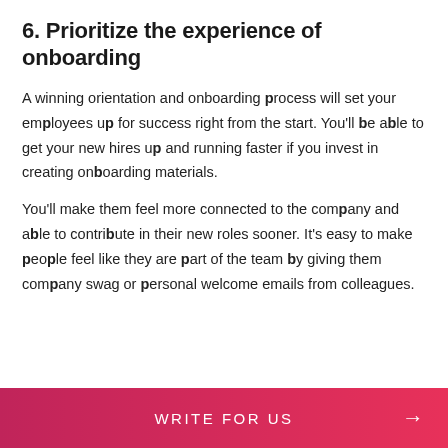6. Prioritize the experience of onboarding
A winning orientation and onboarding process will set your employees up for success right from the start. You'll be able to get your new hires up and running faster if you invest in creating onboarding materials.
You'll make them feel more connected to the company and able to contribute in their new roles sooner. It's easy to make people feel like they are part of the team by giving them company swag or personal welcome emails from colleagues.
WRITE FOR US →